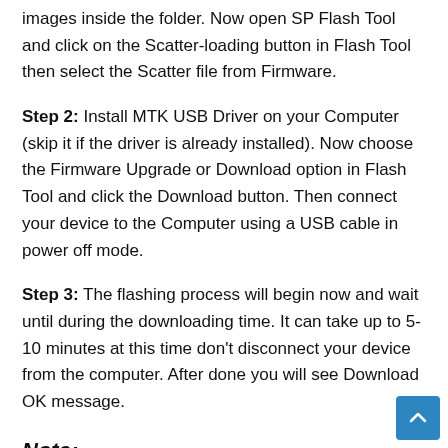images inside the folder. Now open SP Flash Tool and click on the Scatter-loading button in Flash Tool then select the Scatter file from Firmware.
Step 2: Install MTK USB Driver on your Computer (skip it if the driver is already installed). Now choose the Firmware Upgrade or Download option in Flash Tool and click the Download button. Then connect your device to the Computer using a USB cable in power off mode.
Step 3: The flashing process will begin now and wait until during the downloading time. It can take up to 5-10 minutes at this time don't disconnect your device from the computer. After done you will see Download OK message.
Note:
[*] The Huawei Stock Firmware help to recover OS upgrade, dead issue, user security lock, and any software-related problems.